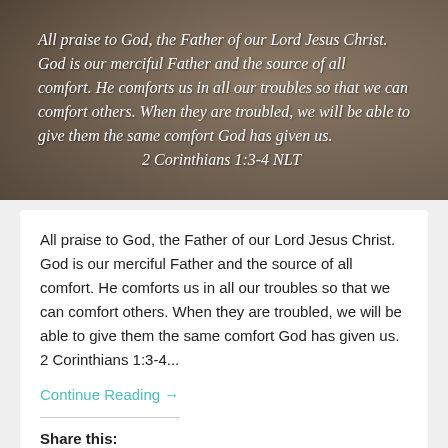[Figure (photo): Photo of people with white cursive text overlay quoting 2 Corinthians 1:3-4 NLT on a warm brown/natural background]
All praise to God, the Father of our Lord Jesus Christ. God is our merciful Father and the source of all comfort. He comforts us in all our troubles so that we can comfort others. When they are troubled, we will be able to give them the same comfort God has given us.  2 Corinthians 1:3-4...
Continue Reading →
Share this:
Twitter
Facebook
Email
Print
Pocket
WhatsApp